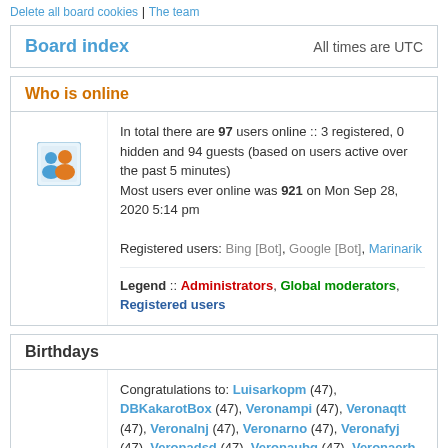Delete all board cookies | The team
Board index — All times are UTC
Who is online
In total there are 97 users online :: 3 registered, 0 hidden and 94 guests (based on users active over the past 5 minutes)
Most users ever online was 921 on Mon Sep 28, 2020 5:14 pm
Registered users: Bing [Bot], Google [Bot], Marinarik
Legend :: Administrators, Global moderators, Registered users
Birthdays
Congratulations to: Luisarkopm (47), DBKakarotBox (47), Veronampi (47), Veronaqtt (47), Veronalnj (47), Veronarno (47), Veronafyj (47), Veronadsd (47), Veronaubg (47), Veronaerh (47), Veronaqch (47), Veronaldq (47), Veronagmk (47),